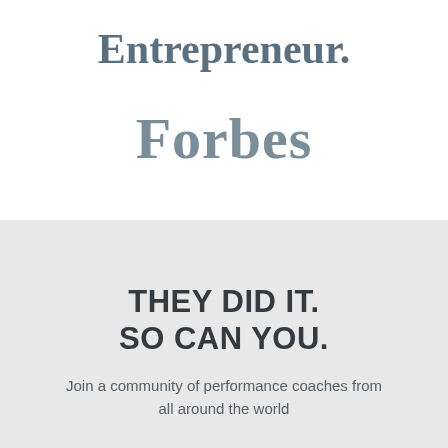[Figure (logo): Entrepreneur. magazine logo in grey serif font]
[Figure (logo): Forbes magazine logo in grey serif font]
THEY DID IT. SO CAN YOU.
Join a community of performance coaches from all around the world